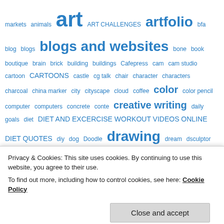markets animals art ART CHALLENGES artfolio bfa blog blogs blogs and websites bone book boutique brain brick building buildings Cafepress cam cam studio cartoon CARTOONS castle cg talk chair character characters charcoal china marker city cityscape cloud coffee color color pencil computer computers concrete conte creative writing daily goals diet DIET AND EXCERCISE WORKOUT VIDEOS ONLINE DIET QUOTES diy dog Doodle drawing dream dsculptor encaustic entropia entropia exercise exercise...
Privacy & Cookies: This site uses cookies. By continuing to use this website, you agree to their use.
To find out more, including how to control cookies, see here: Cookie Policy
Close and accept
ideas illustration Image hosts imodeler injury ink